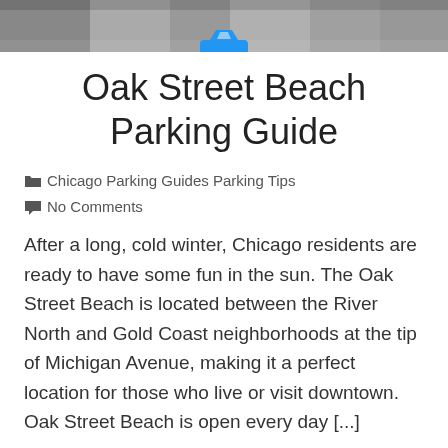[Figure (photo): Aerial city view photo strip at top of page with a blue car/parking icon centered below it]
Oak Street Beach Parking Guide
Chicago Parking Guides Parking Tips
No Comments
After a long, cold winter, Chicago residents are ready to have some fun in the sun. The Oak Street Beach is located between the River North and Gold Coast neighborhoods at the tip of Michigan Avenue, making it a perfect location for those who live or visit downtown. Oak Street Beach is open every day [...]